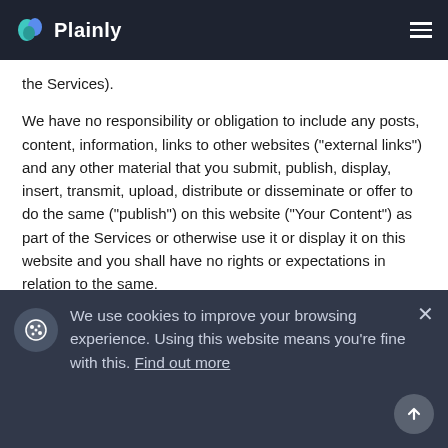Plainly
the Services).
We have no responsibility or obligation to include any posts, content, information, links to other websites ("external links") and any other material that you submit, publish, display, insert, transmit, upload, distribute or disseminate or offer to do the same ("publish") on this website ("Your Content") as part of the Services or otherwise use it or display it on this website and you shall have no rights or expectations in relation to the same.
You agree that you shall abide by the Content on this website and be...
We use cookies to improve your browsing experience. Using this website means you're fine with this. Find out more